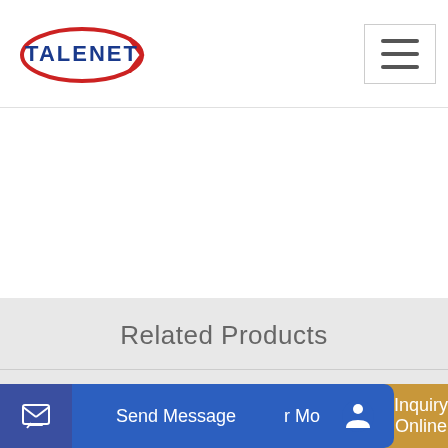[Figure (logo): Talenet logo with red swoosh and blue text]
Related Products
automatic belt conveyor dry mix concrete batch plant price
quality concrete batching plant in ghana for efficiency
Send Message
Inquiry Online